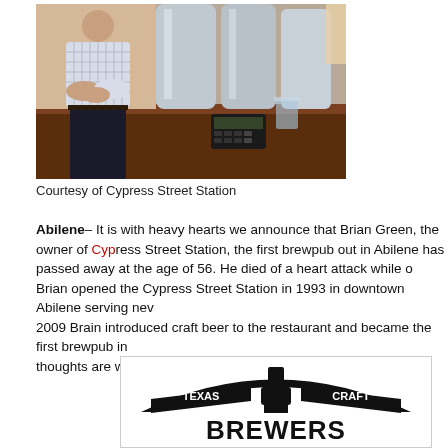[Figure (photo): A man in a light checkered shirt standing behind a bar counter with large stainless steel brewing tanks in the background]
Courtesy of Cypress Street Station
Abilene– It is with heavy hearts we announce that Brian Green, the owner of Cypress Street Station, the first brewpub out in Abilene has passed away at the age of 56. He died of a heart attack while on vacation. Brian opened the Cypress Street Station in 1993 in downtown Abilene serving new American cuisine and in 2009 Brain introduced craft beer to the restaurant and became the first brewpub in Abilene. Our thoughts are with the family of Brian and his wonderful staff.
[Figure (logo): Texas Craft Brewers logo — black and white design with a brewing vessel/tap, banner ribbons reading TEXAS and CRAFT, and large text BREWERS at the bottom]